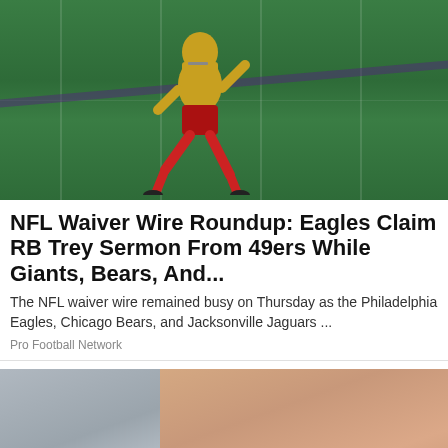[Figure (photo): Football player in red and gold 49ers uniform running/kicking on a green field]
NFL Waiver Wire Roundup: Eagles Claim RB Trey Sermon From 49ers While Giants, Bears, And...
The NFL waiver wire remained busy on Thursday as the Philadelphia Eagles, Chicago Bears, and Jacksonville Jaguars ...
Pro Football Network
[Figure (photo): Person holding their knee/leg, seated, wearing a gray skirt, possible injury or pain advertisement]